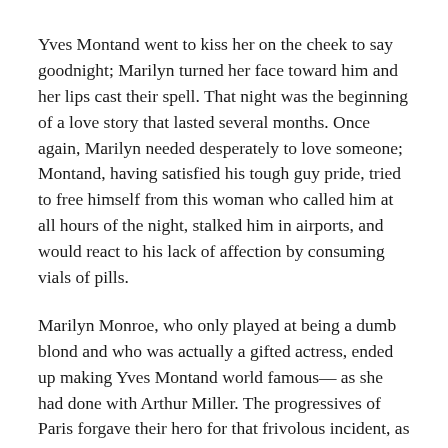Yves Montand went to kiss her on the cheek to say goodnight; Marilyn turned her face toward him and her lips cast their spell. That night was the beginning of a love story that lasted several months. Once again, Marilyn needed desperately to love someone; Montand, having satisfied his tough guy pride, tried to free himself from this woman who called him at all hours of the night, stalked him in airports, and would react to his lack of affection by consuming vials of pills.
Marilyn Monroe, who only played at being a dumb blond and who was actually a gifted actress, ended up making Yves Montand world famous— as she had done with Arthur Miller. The progressives of Paris forgave their hero for that frivolous incident, as did Simone Signoret after she had shed a few tears. She was more offended by the humiliation of the public scandal than her husband's infidelity.